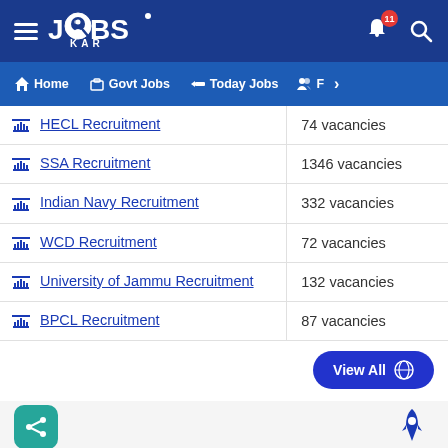JOBS KAR - Home | Govt Jobs | Today Jobs
| Recruitment | Vacancies |
| --- | --- |
| HECL Recruitment | 74 vacancies |
| SSA Recruitment | 1346 vacancies |
| Indian Navy Recruitment | 332 vacancies |
| WCD Recruitment | 72 vacancies |
| University of Jammu Recruitment | 132 vacancies |
| BPCL Recruitment | 87 vacancies |
View All
Apply Qualification Wise Jobs in Various